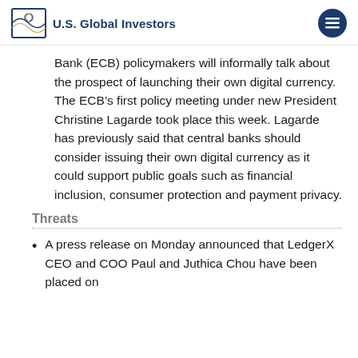U.S. Global Investors
Bank (ECB) policymakers will informally talk about the prospect of launching their own digital currency. The ECB’s first policy meeting under new President Christine Lagarde took place this week. Lagarde has previously said that central banks should consider issuing their own digital currency as it could support public goals such as financial inclusion, consumer protection and payment privacy.
Threats
A press release on Monday announced that LedgerX CEO and COO Paul and Juthica Chou have been placed on